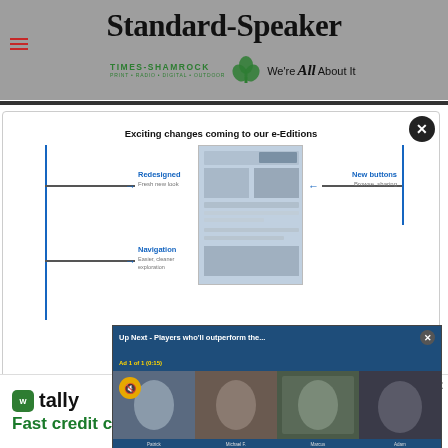Standard-Speaker | TIMES-SHAMROCK PRINT · RADIO · DIGITAL · OUTDOOR — We're All About It
[Figure (screenshot): e-Editions modal popup showing 'Exciting changes coming to our e-Editions' with redesigned layout, navigation labels, and a newspaper screenshot in the center with blue horizontal lines and arrows pointing to features like 'Redesigned', 'New buttons', and 'Navigation']
[Figure (screenshot): Video player overlay titled 'Up Next - Players who'll outperform the...' with 'Ad 1 of 1 (0:15)' label, showing four panelists: Patrick Clayton, Michael F. Floris, Marcus Grant, Adam Hank, with a mute button in the upper left]
[Figure (screenshot): Bottom advertisement banner for Tally app — 'Fast credit card payoff' with a Download Now button]